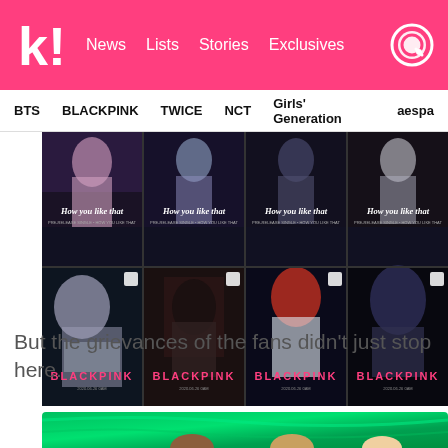k! News Lists Stories Exclusives
BTS BLACKPINK TWICE NCT Girls' Generation aespa
[Figure (photo): Grid of 8 BLACKPINK promotional teaser images for 'How You Like That' and individual member teasers with BLACKPINK logo]
But the grievances of the fans didn't just stop here.
[Figure (photo): BLACKPINK members in front of green fabric backdrop, partial view]